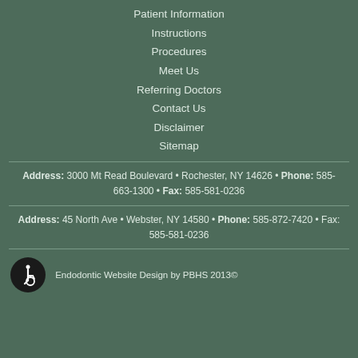Patient Information
Instructions
Procedures
Meet Us
Referring Doctors
Contact Us
Disclaimer
Sitemap
Address: 3000 Mt Read Boulevard • Rochester, NY 14626 • Phone: 585-663-1300 • Fax: 585-581-0236
Address: 45 North Ave • Webster, NY 14580 • Phone: 585-872-7420 • Fax: 585-581-0236
Endodontic Website Design by PBHS 2013©